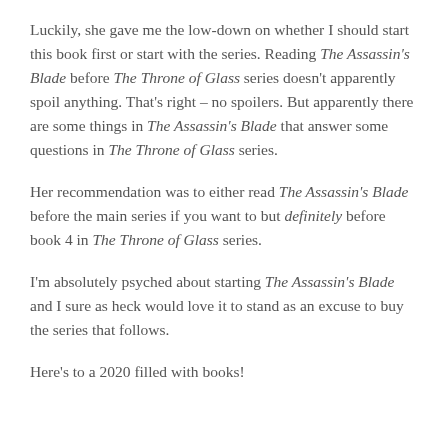Luckily, she gave me the low-down on whether I should start this book first or start with the series. Reading The Assassin's Blade before The Throne of Glass series doesn't apparently spoil anything. That's right – no spoilers. But apparently there are some things in The Assassin's Blade that answer some questions in The Throne of Glass series.
Her recommendation was to either read The Assassin's Blade before the main series if you want to but definitely before book 4 in The Throne of Glass series.
I'm absolutely psyched about starting The Assassin's Blade and I sure as heck would love it to stand as an excuse to buy the series that follows.
Here's to a 2020 filled with books!